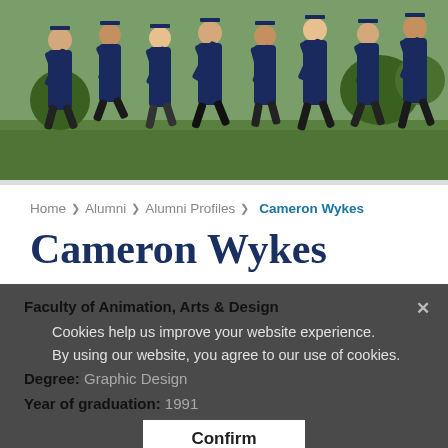[Figure (photo): Group of university graduates in navy blue gowns jumping joyfully on a green lawn]
Home > Alumni > Alumni Profiles > Cameron Wykes
Cameron Wykes
Faculty of Animation, Arts & Design
Cookies help us improve your website experience. By using our website, you agree to our use of cookies.
Degree: Graphic Design
Year of graduation: 1991
Confirm